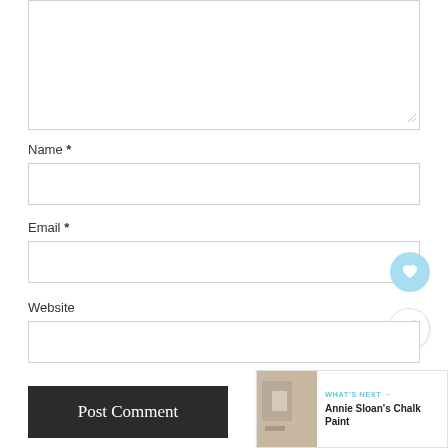[Figure (screenshot): Partial comment textarea (top portion visible) with light gray border and resize handle at bottom right]
Name *
[Figure (screenshot): Text input field for Name]
Email *
[Figure (screenshot): Text input field for Email with heart button overlay]
Website
[Figure (screenshot): Text input field for Website with share button overlay]
[Figure (screenshot): Post Comment button (dark background, white serif text)]
[Figure (infographic): WHAT'S NEXT card showing Annie Sloan's Chalk Paint with thumbnail image]